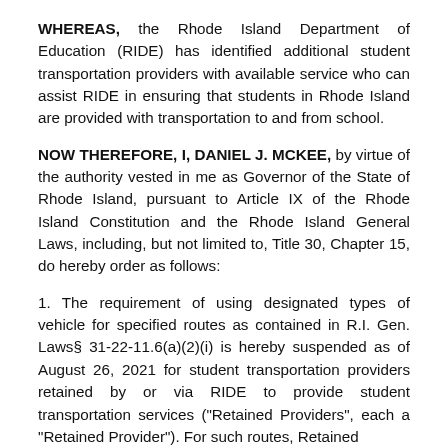WHEREAS, the Rhode Island Department of Education (RIDE) has identified additional student transportation providers with available service who can assist RIDE in ensuring that students in Rhode Island are provided with transportation to and from school.
NOW THEREFORE, I, DANIEL J. MCKEE, by virtue of the authority vested in me as Governor of the State of Rhode Island, pursuant to Article IX of the Rhode Island Constitution and the Rhode Island General Laws, including, but not limited to, Title 30, Chapter 15, do hereby order as follows:
1. The requirement of using designated types of vehicle for specified routes as contained in R.I. Gen. Laws§ 31-22-11.6(a)(2)(i) is hereby suspended as of August 26, 2021 for student transportation providers retained by or via RIDE to provide student transportation services ("Retained Providers", each a "Retained Provider"). For such routes, Retained providers will...